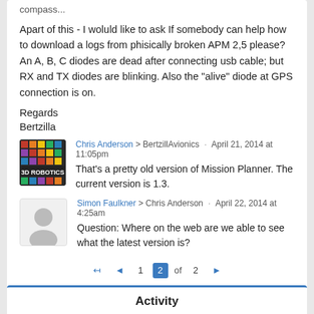compass...
Apart of this - I woluld like to ask If somebody can help how to download a logs from phisically broken APM 2,5 please? An A, B, C diodes are dead after connecting usb cable; but RX and TX diodes are blinking. Also the "alive" diode at GPS connection is on.
Regards
Bertzilla
Chris Anderson > BertzillAvionics · April 21, 2014 at 11:05pm
That's a pretty old version of Mission Planner. The current version is 1.3.
Simon Faulkner > Chris Anderson · April 22, 2014 at 4:25am
Question: Where on the web are we able to see what the latest version is?
1 2 of 2
Activity